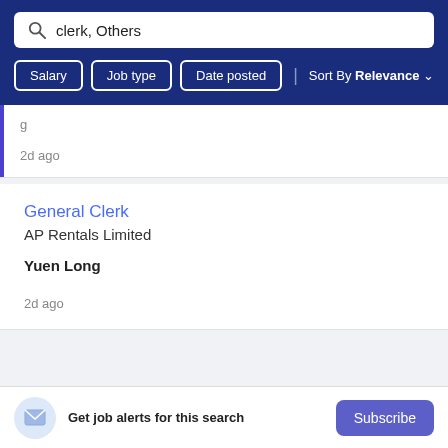[Figure (screenshot): Search box with query 'clerk, Others' and a magnifying glass icon]
Salary   Job type   Date posted   | Sort By Relevance ∨
2d ago
General Clerk
AP Rentals Limited
Yuen Long
2d ago
Get job alerts for this search